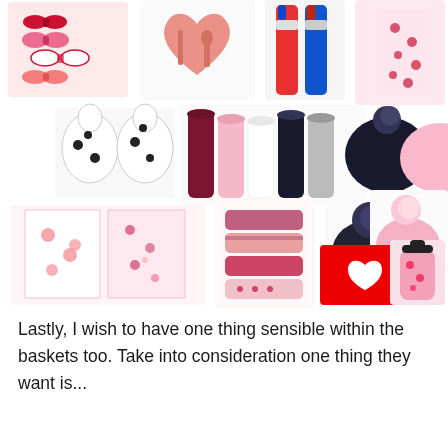[Figure (photo): Collage of Valentine's Day themed children's products including hair bows, heart-print plate with utensils, electric toothbrushes, heart-print onesie, black and white heart mittens, knee-high socks in multiple colors, pink pompom hat, dark pompom hat, baby sleep sacks, ankle socks pack, red heart sweatshirt, and pink heart water bottle.]
Lastly, I wish to have one thing sensible within the baskets too. Take into consideration one thing they want is...